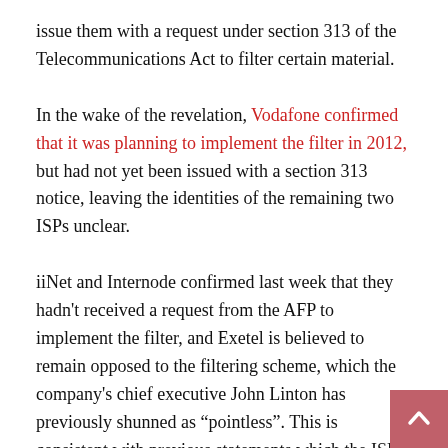issue them with a request under section 313 of the Telecommunications Act to filter certain material.
In the wake of the revelation, Vodafone confirmed that it was planning to implement the filter in 2012, but had not yet been issued with a section 313 notice, leaving the identities of the remaining two ISPs unclear.
iiNet and Internode confirmed last week that they hadn't received a request from the AFP to implement the filter, and Exetel is believed to remain opposed to the filtering scheme, which the company's chief executive John Linton has previously shunned as “pointless”. This is consistent with previous statements which the ISPs have made on the matter.
However, when contacted by Delimiter last week, TPG declined to comment on the matter, while spokespeople from